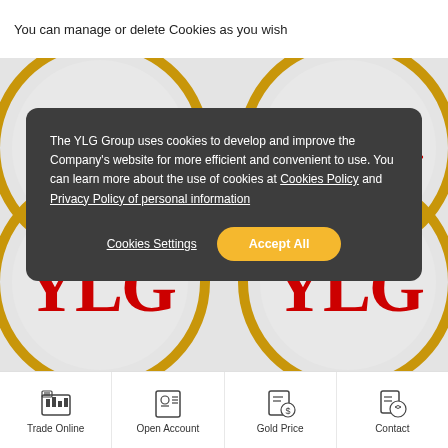You can manage or delete Cookies as you wish
[Figure (screenshot): YLG Group website screenshot showing cookie consent modal overlay on top of YLG logo circles background. The dark modal contains cookie policy text and two buttons: Cookies Settings and Accept All.]
The YLG Group uses cookies to develop and improve the Company's website for more efficient and convenient to use. You can learn more about the use of cookies at Cookies Policy and Privacy Policy of personal information
Cookies Settings
Accept All
Trade Online | Open Account | Gold Price | Contact